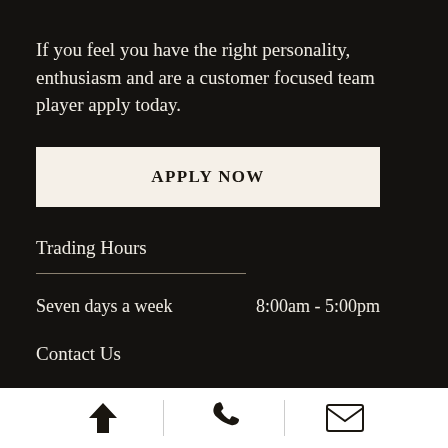If you feel you have the right personality, enthusiasm and are a customer focused team player apply today.
[Figure (other): APPLY NOW button — a cream/off-white rectangular button with uppercase serif text]
Trading Hours
Seven days a week   8:00am - 5:00pm
Contact Us
Navigation, phone, and email icons in white footer bar